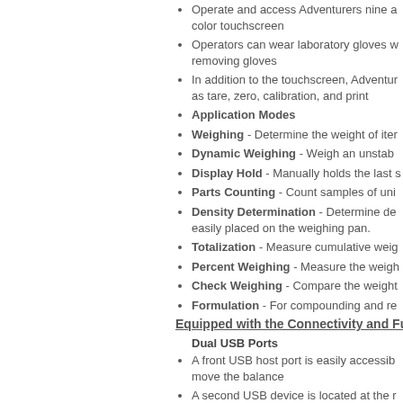Operate and access Adventurers nine and color touchscreen
Operators can wear laboratory gloves w... removing gloves
In addition to the touchscreen, Adventur... as tare, zero, calibration, and print
Application Modes
Weighing - Determine the weight of item
Dynamic Weighing - Weigh an unstab...
Display Hold - Manually holds the last s...
Parts Counting - Count samples of uni...
Density Determination - Determine de... easily placed on the weighing pan.
Totalization - Measure cumulative weig...
Percent Weighing - Measure the weigh...
Check Weighing - Compare the weight...
Formulation - For compounding and re...
Equipped with the Connectivity and Functio...
Dual USB Ports
A front USB host port is easily accessib... move the balance
A second USB device is located at the r...
The connectivity options help meet trac...
Real Time Clock with GLP/GMP Data...
A real-time clock function keeps accurat...
Balance IDs to help meet traceability r...